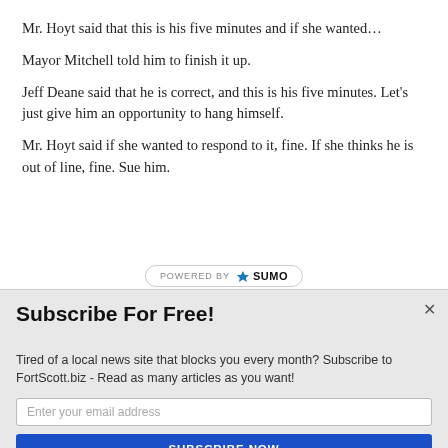Mr. Hoyt said that this is his five minutes and if she wanted…
Mayor Mitchell told him to finish it up.
Jeff Deane said that he is correct, and this is his five minutes. Let's just give him an opportunity to hang himself.
Mr. Hoyt said if she wanted to respond to it, fine. If she thinks he is out of line, fine. Sue him.
[Figure (logo): POWERED BY SUMO badge/logo with crown icon]
Subscribe For Free!
Tired of a local news site that blocks you every month? Subscribe to FortScott.biz - Read as many articles as you want!
Enter your email address
SUBSCRIBE NOW